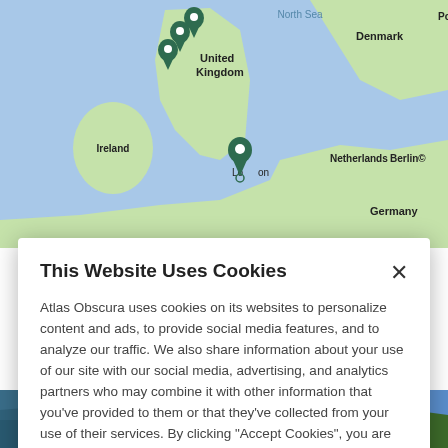[Figure (map): Google Maps view showing UK, Ireland, Netherlands, Denmark, Germany, Poland with dark green map pin markers]
This Website Uses Cookies
Atlas Obscura uses cookies on its websites to personalize content and ads, to provide social media features, and to analyze our traffic. We also share information about your use of our site with our social media, advertising, and analytics partners who may combine it with other information that you've provided to them or that they've collected from your use of their services. By clicking "Accept Cookies", you are consenting to use of cookies as described in our Cookie Policy. View Cookie Policy
[Figure (photo): Two thumbnail photos at bottom: left shows lake/water scene, right shows aerial green landscape]
Manage Preferences
Allow Cookies